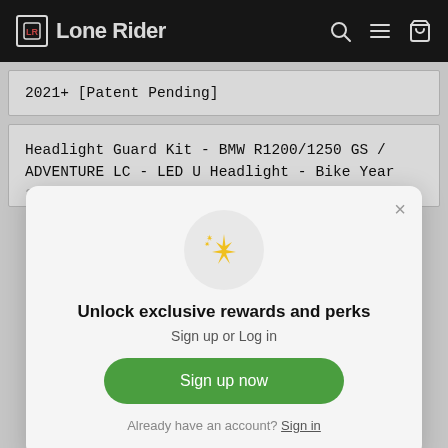Lone Rider
2021+ [Patent Pending]
Headlight Guard Kit - BMW R1200/1250 GS / ADVENTURE LC - LED U Headlight - Bike Year 2013-2020 - [Patent Pending]
Unlock exclusive rewards and perks
Sign up or Log in
Sign up now
Already have an account? Sign in